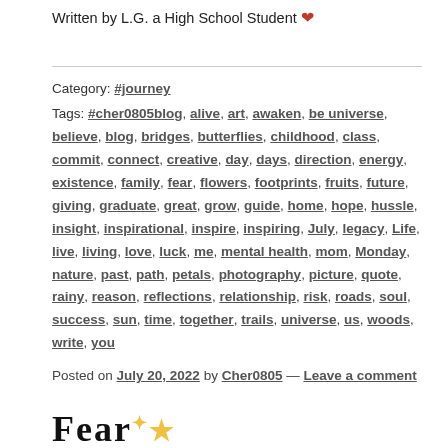Written by L.G. a High School Student ❤
Category: #journey
Tags: #cher0805blog, alive, art, awaken, be universe, believe, blog, bridges, butterflies, childhood, class, commit, connect, creative, day, days, direction, energy, existence, family, fear, flowers, footprints, fruits, future, giving, graduate, great, grow, guide, home, hope, hussle, insight, inspirational, inspire, inspiring, July, legacy, Life, live, living, love, luck, me, mental health, mom, Monday, nature, past, path, petals, photography, picture, quote, rainy, reason, reflections, relationship, risk, roads, soul, success, sun, time, together, trails, universe, us, woods, write, you
Posted on July 20, 2022 by Cher0805 — Leave a comment
[Figure (other): Partially visible 'Fear' text with gold star/sparkle graphic at bottom of page]